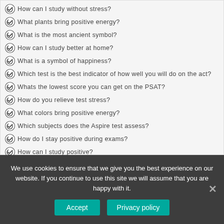How can I study without stress?
What plants bring positive energy?
What is the most ancient symbol?
How can I study better at home?
What is a symbol of happiness?
Which test is the best indicator of how well you will do on the act?
Whats the lowest score you can get on the PSAT?
How do you relieve test stress?
What colors bring positive energy?
Which subjects does the Aspire test assess?
How do I stay positive during exams?
How can I study positive?
How do you stay positive?
How many questions are there on the Aspire English test?
What is the structure of the Aspire test?
We use cookies to ensure that we give you the best experience on our website. If you continue to use this site we will assume that you are happy with it.